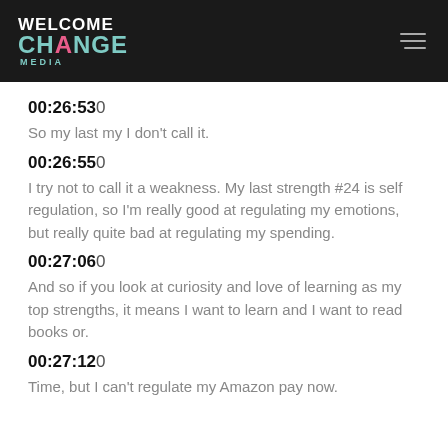WELCOME CHANGE MEDIA
00:26:530
So my last my I don't call it.
00:26:550
I try not to call it a weakness. My last strength #24 is self regulation, so I'm really good at regulating my emotions, but really quite bad at regulating my spending.
00:27:060
And so if you look at curiosity and love of learning as my top strengths, it means I want to learn and I want to read books or.
00:27:120
Time, but I can't regulate my Amazon pay now.